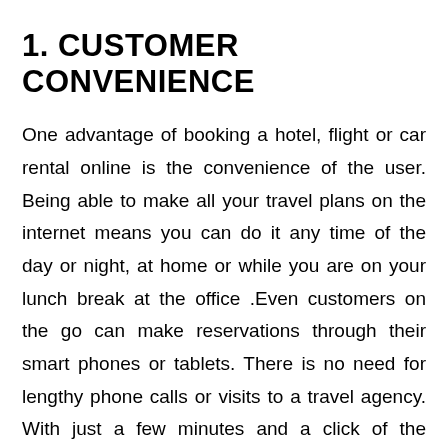1. CUSTOMER CONVENIENCE
One advantage of booking a hotel, flight or car rental online is the convenience of the user. Being able to make all your travel plans on the internet means you can do it any time of the day or night, at home or while you are on your lunch break at the office .Even customers on the go can make reservations through their smart phones or tablets. There is no need for lengthy phone calls or visits to a travel agency. With just a few minutes and a click of the mouse and you will have all your plans finalized. As with most things related to holidays the earlier you book the more likely you will get a good price. This is another